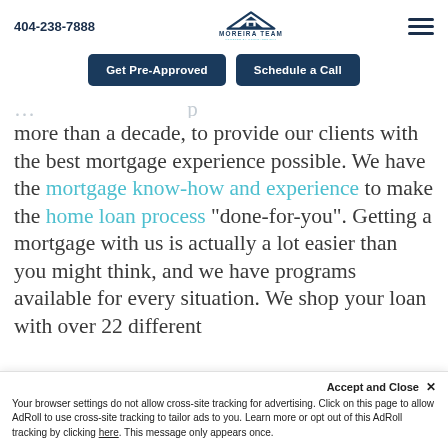404-238-7888 | Moreira Team logo | hamburger menu
Get Pre-Approved | Schedule a Call
more than a decade, to provide our clients with the best mortgage experience possible. We have the mortgage know-how and experience to make the home loan process “done-for-you”. Getting a mortgage with us is actually a lot easier than you might think, and we have programs available for every situation. We shop your loan with over 22 different
Accept and Close × Your browser settings do not allow cross-site tracking for advertising. Click on this page to allow AdRoll to use cross-site tracking to tailor ads to you. Learn more or opt out of this AdRoll tracking by clicking here. This message only appears once.